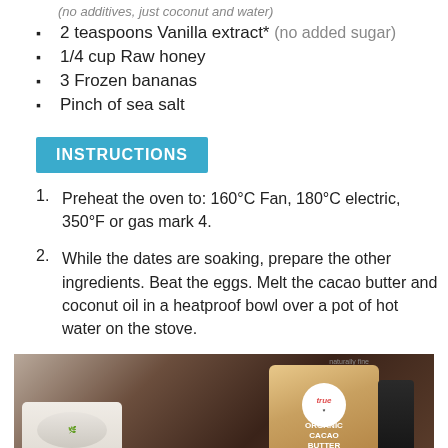(no additives, just coconut and water)
2 teaspoons Vanilla extract* (no added sugar)
1/4 cup Raw honey
3 Frozen bananas
Pinch of sea salt
INSTRUCTIONS
Preheat the oven to: 160°C Fan, 180°C electric, 350°F or gas mark 4.
While the dates are soaking, prepare the other ingredients. Beat the eggs. Melt the cacao butter and coconut oil in a heatproof bowl over a pot of hot water on the stove.
[Figure (photo): Photo of baking ingredients on a dark wooden surface including a package of organic cacao butter with a 'true' logo, eggs in a white container, and a dark bottle]